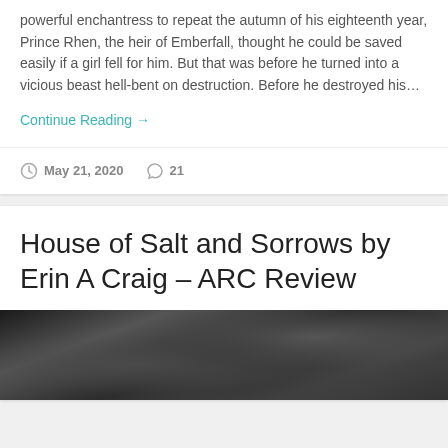powerful enchantress to repeat the autumn of his eighteenth year, Prince Rhen, the heir of Emberfall, thought he could be saved easily if a girl fell for him. But that was before he turned into a vicious beast hell-bent on destruction. Before he destroyed his...
Continue Reading →
May 21, 2020   21
House of Salt and Sorrows by Erin A Craig – ARC Review
[Figure (photo): Dark close-up photograph of rocks or shells with a rough textured surface, dark browns and blacks]